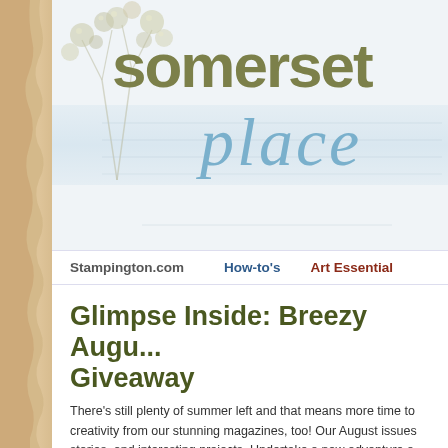[Figure (logo): Somerset Place blog logo featuring 'somerset' in olive/khaki bold sans-serif and 'place' in blue italic cursive script, with decorative botanical berry illustration on the left, on a light blue-tinted background]
Stampington.com    How-to's    Art Essential
Glimpse Inside: Breezy Augu... Giveaway
There's still plenty of summer left and that means more time to creativity from our stunning magazines, too! Our August issues stories, and interesting projects. Undertake a new adventure a Blogging or get inspired by the creative spaces featured in Wh now we have to share, however is the release of Belle C...